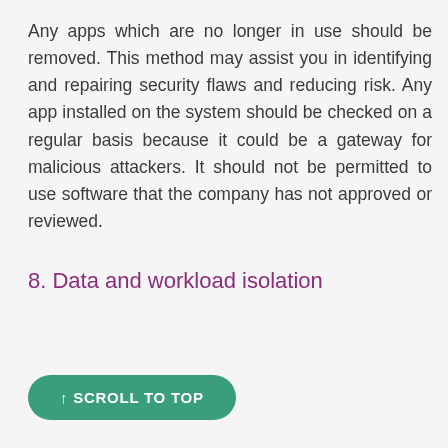Any apps which are no longer in use should be removed. This method may assist you in identifying and repairing security flaws and reducing risk. Any app installed on the system should be checked on a regular basis because it could be a gateway for malicious attackers. It should not be permitted to use software that the company has not approved or reviewed.
8. Data and workload isolation
↑ SCROLL TO TOP